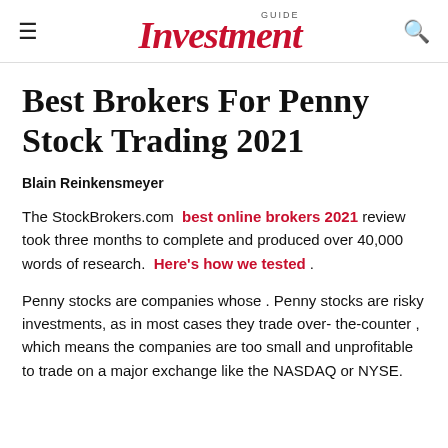GUIDE Investment
Best Brokers For Penny Stock Trading 2021
Blain Reinkensmeyer
The StockBrokers.com best online brokers 2021 review took three months to complete and produced over 40,000 words of research. Here's how we tested .
Penny stocks are companies whose . Penny stocks are risky investments, as in most cases they trade over-the-counter , which means the companies are too small and unprofitable to trade on a major exchange like the NASDAQ or NYSE.